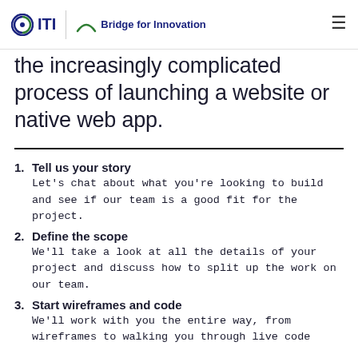ITI | Bridge for Innovation
the increasingly complicated process of launching a website or native web app.
Tell us your story
Let's chat about what you're looking to build and see if our team is a good fit for the project.
Define the scope
We'll take a look at all the details of your project and discuss how to split up the work on our team.
Start wireframes and code
We'll work with you the entire way, from wireframes to walking you through live code